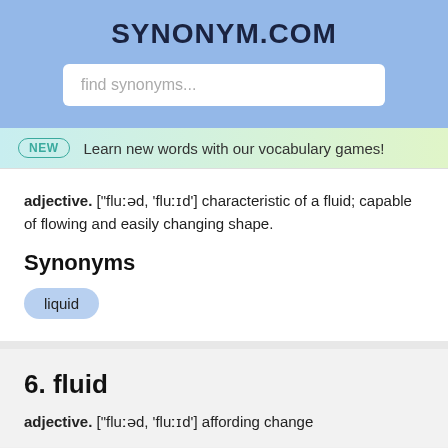SYNONYM.COM
find synonyms...
NEW  Learn new words with our vocabulary games!
adjective. ["fluːəd, 'fluːɪd'] characteristic of a fluid; capable of flowing and easily changing shape.
Synonyms
liquid
6. fluid
adjective. ["fluːəd, 'fluːɪd'] affording change